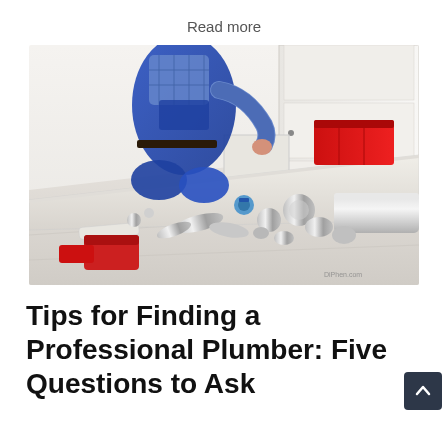Read more
[Figure (photo): A plumber in blue overalls and plaid shirt kneeling on kitchen floor working under a cabinet, with plumbing tools and pipe fittings spread on white tile floor. Red toolbox visible in background. Watermark: DiPhen.com]
Tips for Finding a Professional Plumber: Five Questions to Ask